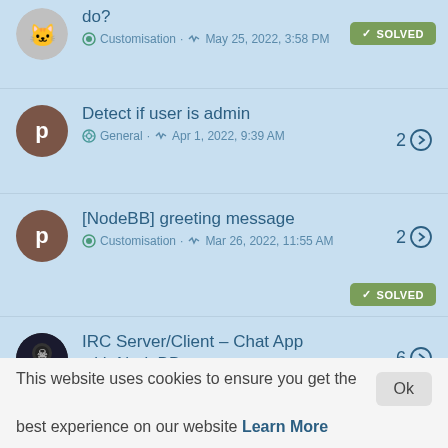do? · Customisation · May 25, 2022, 3:58 PM · SOLVED
Detect if user is admin · General · Apr 1, 2022, 9:39 AM · 2 replies
[NodeBB] greeting message · Customisation · Mar 26, 2022, 11:55 AM · 2 replies · SOLVED
IRC Server/Client - Chat App with NodeBB · 6 replies
This website uses cookies to ensure you get the best experience on our website Learn More